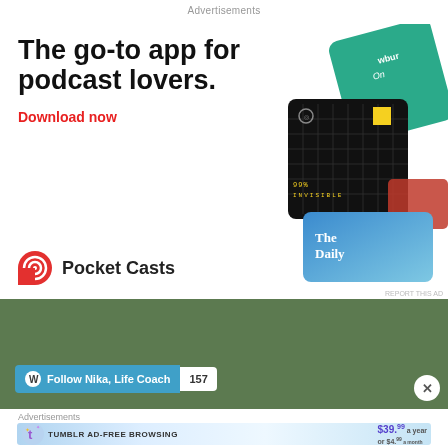Advertisements
[Figure (illustration): Pocket Casts podcast app advertisement. Large bold text reads 'The go-to app for podcast lovers.' with a red 'Download now' link. Shows Pocket Casts logo and app name. Right side shows podcast cover art cards including 99% Invisible (black grid card with yellow square), WBUR, and The Daily (blue gradient card).]
[Figure (illustration): WordPress.com advertisement with dark green background. Shows a WordPress follow button bar: WordPress icon, 'Follow Nika, Life Coach' button in teal, and follower count '157' in white box.]
Advertisements
[Figure (illustration): Tumblr Ad-Free Browsing advertisement. Light blue gradient background with Tumblr 't' logo. Text: 'TUMBLR AD-FREE BROWSING' and pricing '$39.99 a year or $4.99 a month'.]